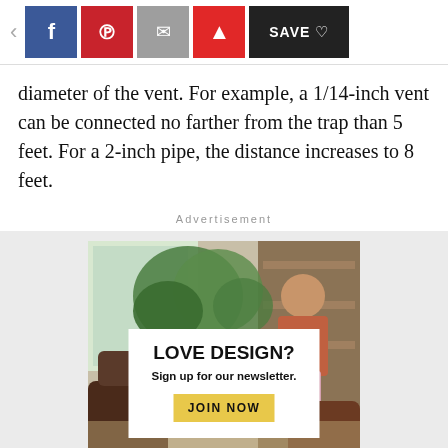Social share toolbar with Facebook, Pinterest, Email, Flipboard, and Save buttons
diameter of the vent. For example, a 1/14-inch vent can be connected no farther from the trap than 5 feet. For a 2-inch pipe, the distance increases to 8 feet.
Advertisement
[Figure (photo): Advertisement banner showing a person near plants with text 'LOVE DESIGN? Sign up for our newsletter. JOIN NOW']